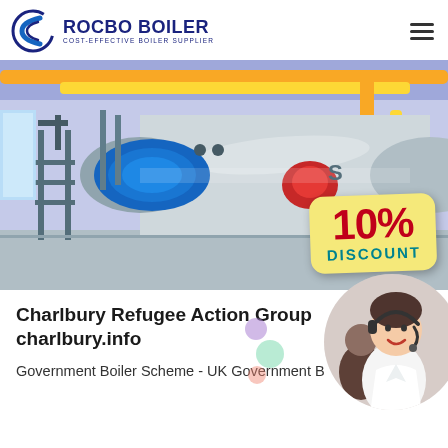ROCBO BOILER COST-EFFECTIVE BOILER SUPPLIER
[Figure (photo): Industrial boiler room with a large horizontal cylindrical boiler in blue and white, with yellow pipes overhead and a 10% DISCOUNT badge overlay in the lower right corner.]
Charlbury Refugee Action Group charlbury.info
Government Boiler Scheme - UK Government B
[Figure (photo): Customer service woman wearing a headset smiling, with another agent visible in the background. Circular portrait photo.]